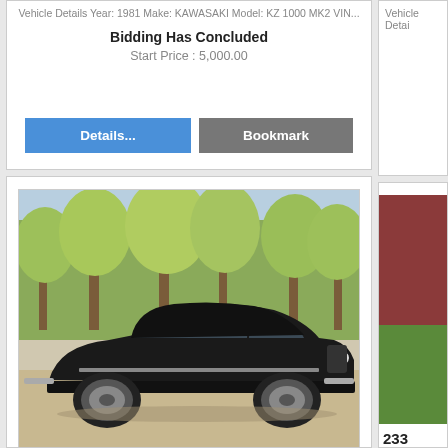Vehicle Details Year: 1981 Make: KAWASAKI Model: KZ 1000 MK2 VIN...
Bidding Has Concluded
Start Price : 5,000.00
Details...
Bookmark
[Figure (photo): Black 1939 Chevrolet Master Deluxe Coupe parked on gravel/sand with trees in background]
232 - 1939 CHEVROLET MASTER DELUXE COUPE
Vehicle Details Year: 1981 Make: KAWASAKI Model: KZ 1000 MK2 VIN...
233